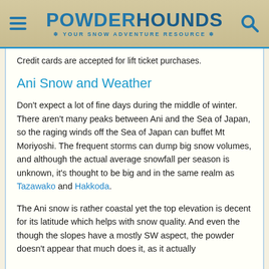POWDERHOUNDS — YOUR SNOW ADVENTURE RESOURCE
Credit cards are accepted for lift ticket purchases.
Ani Snow and Weather
Don't expect a lot of fine days during the middle of winter. There aren't many peaks between Ani and the Sea of Japan, so the raging winds off the Sea of Japan can buffet Mt Moriyoshi. The frequent storms can dump big snow volumes, and although the actual average snowfall per season is unknown, it's thought to be big and in the same realm as Tazawako and Hakkoda.
The Ani snow is rather coastal yet the top elevation is decent for its latitude which helps with snow quality. And even the though the slopes have a mostly SW aspect, the powder doesn't appear that much does it, as it actually...